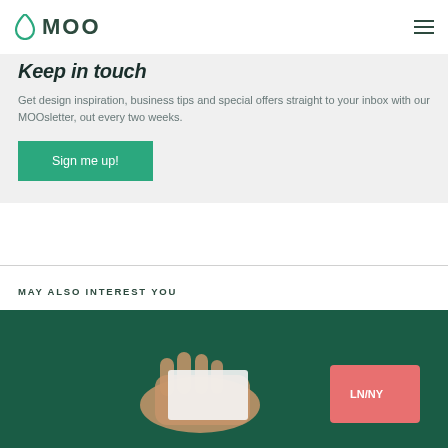MOO
Keep in touch
Get design inspiration, business tips and special offers straight to your inbox with our MOOsletter, out every two weeks.
Sign me up!
MAY ALSO INTEREST YOU
[Figure (photo): A hand holding a business card over a dark teal background, with a salmon/pink card visible showing 'LN/NY']